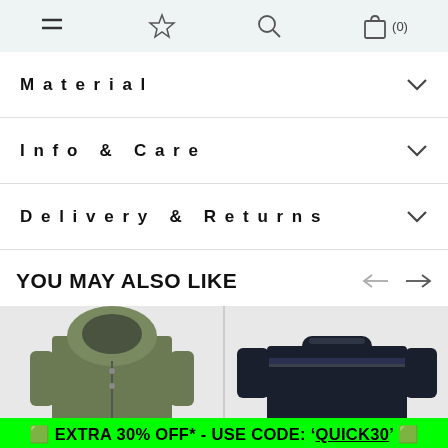Navigation bar with hamburger menu, star/wishlist icon, search icon, and bag (0)
Material
Info & Care
Delivery & Returns
YOU MAY ALSO LIKE
[Figure (photo): Two product images: an olive/khaki hooded jacket on the left and a dark navy/black crew-neck sweater on the right]
🟩 EXTRA 30% OFF* - USE CODE: 'QUICK30' 🟩 | SHOP NOW > | - Ends In 6H 2M 38S